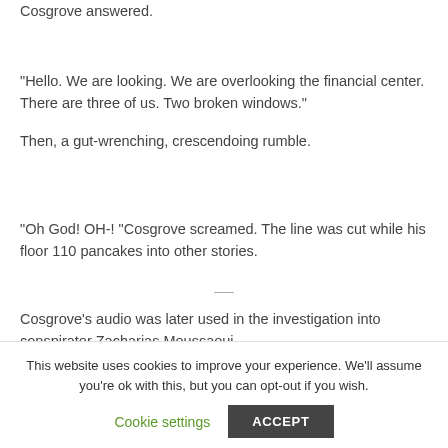Cosgrove answered.
“Hello. We are looking. We are overlooking the financial center. There are three of us. Two broken windows.”
Then, a gut-wrenching, crescendoing rumble.
“Oh God! OH-! “Cosgrove screamed. The line was cut while his floor 110 pancakes into other stories.
Cosgrove’s audio was later used in the investigation into conspirator Zacharias Moussaoui.
This website uses cookies to improve your experience. We’ll assume you’re ok with this, but you can opt-out if you wish.
Cookie settings
ACCEPT